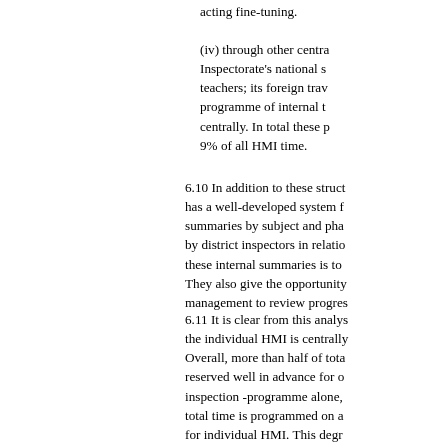acting fine-tuning.
(iv) through other centra Inspectorate's national s teachers; its foreign trav programme of internal t centrally. In total these p 9% of all HMI time.
6.10 In addition to these struct has a well-developed system f summaries by subject and pha by district inspectors in relatio these internal summaries is to They also give the opportunity management to review progres
6.11 It is clear from this analys the individual HMI is centrally Overall, more than half of tota reserved well in advance for o inspection -programme alone, total time is programmed on a for individual HMI. This degr however, obviate the need for however, responsibility for det